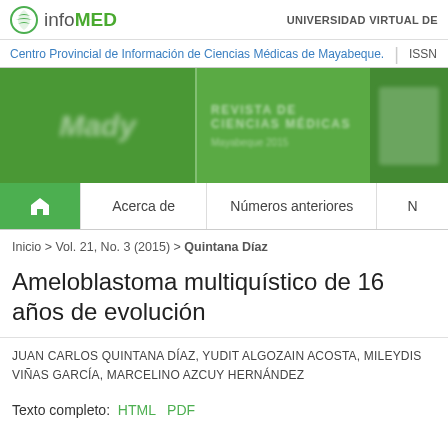infomed | UNIVERSIDAD VIRTUAL DE
Centro Provincial de Información de Ciencias Médicas de Mayabeque. | ISSN
[Figure (illustration): Green banner header with blurred journal masthead imagery]
🏠 Acerca de | Números anteriores | N
Inicio > Vol. 21, No. 3 (2015) > Quintana Díaz
Ameloblastoma multiquístico de 16 años de evolución
JUAN CARLOS QUINTANA DÍAZ, YUDIT ALGOZAIN ACOSTA, MILEYDIS VIÑAS GARCÍA, MARCELINO AZCUY HERNÁNDEZ
Texto completo: HTML PDF